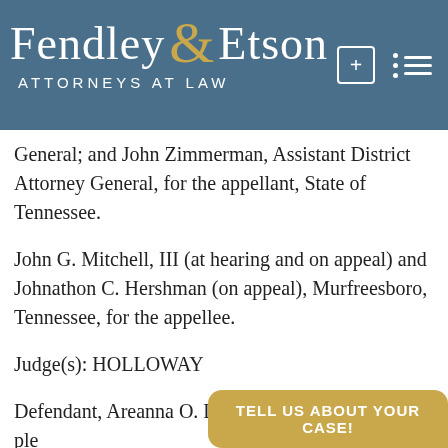Fendley & Etson ATTORNEYS AT LAW
General; and John Zimmerman, Assistant District Attorney General, for the appellant, State of Tennessee.
John G. Mitchell, III (at hearing and on appeal) and Johnathon C. Hershman (on appeal), Murfreesboro, Tennessee, for the appellee.
Judge(s): HOLLOWAY
Defendant, Areanna O. Lloyd, entered guilty ple to two counts of robbery
TELL US ABOUT YOUR CASE!